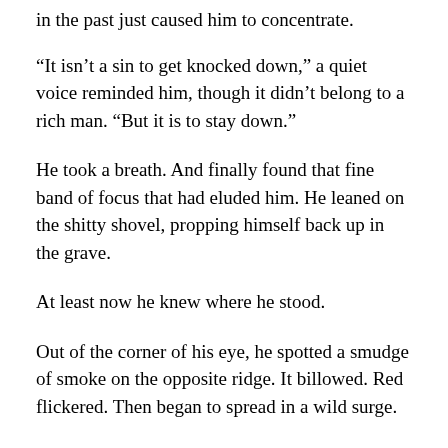in the past just caused him to concentrate.
“It isn’t a sin to get knocked down,” a quiet voice reminded him, though it didn’t belong to a rich man. “But it is to stay down.”
He took a breath. And finally found that fine band of focus that had eluded him. He leaned on the shitty shovel, propping himself back up in the grave.
At least now he knew where he stood.
Out of the corner of his eye, he spotted a smudge of smoke on the opposite ridge. It billowed. Red flickered. Then began to spread in a wild surge.
Someone had finally thrown a block for him.
Billy Joe found himself again in that f…